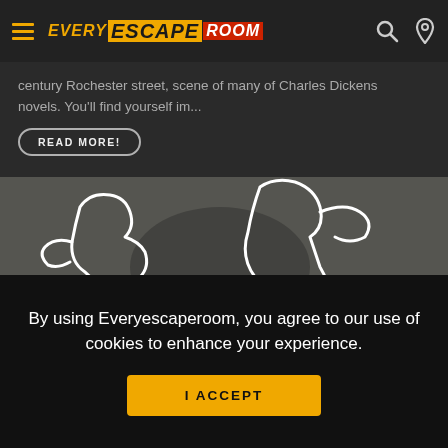Every Escape Room
century Rochester street, scene of many of Charles Dickens novels. You'll find yourself im...
READ MORE!
[Figure (photo): Chalk outline of a body on a dark floor, crime scene style, with a yellow stripe at bottom left]
Murder at the Pier
By using Everyescaperoom, you agree to our use of cookies to enhance your experience.
I ACCEPT